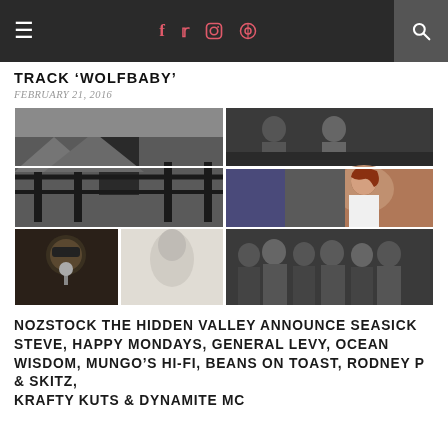Navigation bar with hamburger menu, social icons (f, twitter, instagram, pinterest), and search
TRACK 'WOLFBABY'
FEBRUARY 21, 2016
[Figure (photo): Collage of artist photos: main large black-and-white photo of person at fence, plus smaller photos of various artists including a woman with red hair, a bearded man in yellow, a group photo, and others]
NOZSTOCK THE HIDDEN VALLEY ANNOUNCE SEASICK STEVE, HAPPY MONDAYS, GENERAL LEVY, OCEAN WISDOM, MUNGO'S HI-FI, BEANS ON TOAST, RODNEY P & SKITZ, KRAFTY KUTS & DYNAMITE MC